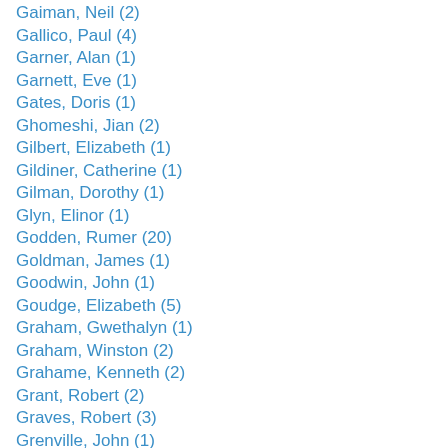Gaiman, Neil (2)
Gallico, Paul (4)
Garner, Alan (1)
Garnett, Eve (1)
Gates, Doris (1)
Ghomeshi, Jian (2)
Gilbert, Elizabeth (1)
Gildiner, Catherine (1)
Gilman, Dorothy (1)
Glyn, Elinor (1)
Godden, Rumer (20)
Goldman, James (1)
Goodwin, John (1)
Goudge, Elizabeth (5)
Graham, Gwethalyn (1)
Graham, Winston (2)
Grahame, Kenneth (2)
Grant, Robert (2)
Graves, Robert (3)
Grenville, John (1)